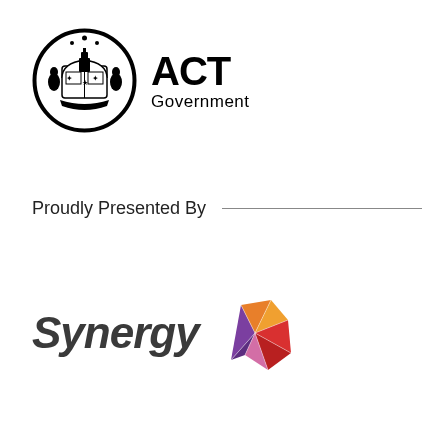[Figure (logo): ACT Government logo with circular coat of arms emblem on the left and bold text 'ACT Government' on the right]
Proudly Presented By
[Figure (logo): Synergy company logo with dark grey italic text 'Synergy' and a colourful geometric star/arrow shape in purple, orange and red on the right]